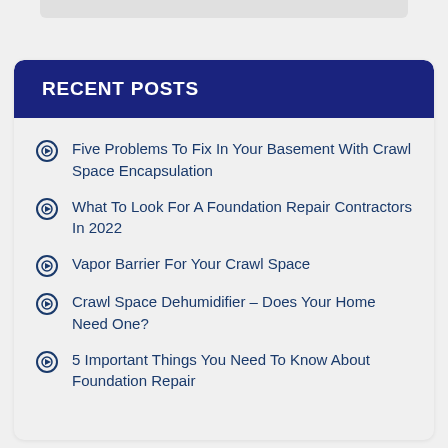RECENT POSTS
Five Problems To Fix In Your Basement With Crawl Space Encapsulation
What To Look For A Foundation Repair Contractors In 2022
Vapor Barrier For Your Crawl Space
Crawl Space Dehumidifier – Does Your Home Need One?
5 Important Things You Need To Know About Foundation Repair